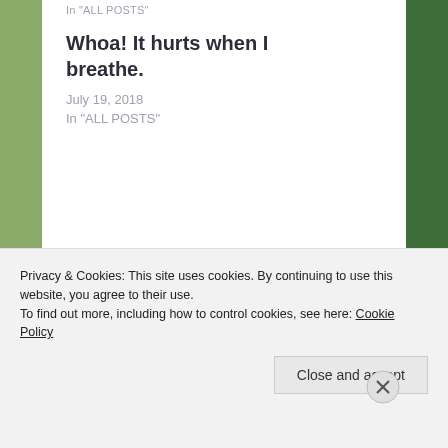In "ALL POSTS"
Whoa! It hurts when I breathe.
July 19, 2018
In "ALL POSTS"
June 18, 2020
Just a little love
Autoimmunity and insurance
Advertisements
Privacy & Cookies: This site uses cookies. By continuing to use this website, you agree to their use.
To find out more, including how to control cookies, see here: Cookie Policy
Close and accept